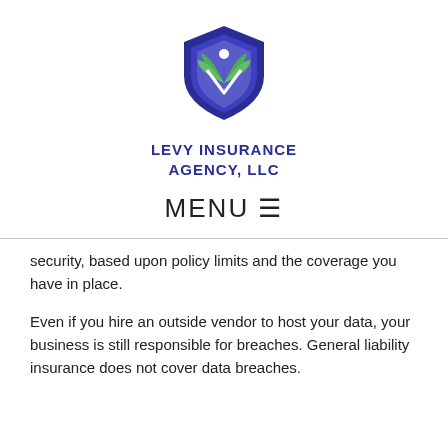[Figure (logo): Levy Insurance Agency, LLC logo — blue shield with green leaf design and white dot]
LEVY INSURANCE AGENCY, LLC
MENU ☰
security, based upon policy limits and the coverage you have in place.
Even if you hire an outside vendor to host your data, your business is still responsible for breaches. General liability insurance does not cover data breaches.